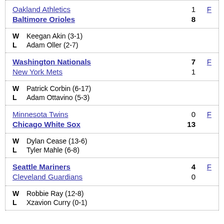| Team | Score | Status |
| --- | --- | --- |
| Oakland Athletics | 1 | F |
| Baltimore Orioles | 8 |  |
W  Keegan Akin (3-1)
L  Adam Oller (2-7)
| Team | Score | Status |
| --- | --- | --- |
| Washington Nationals | 7 | F |
| New York Mets | 1 |  |
W  Patrick Corbin (6-17)
L  Adam Ottavino (5-3)
| Team | Score | Status |
| --- | --- | --- |
| Minnesota Twins | 0 | F |
| Chicago White Sox | 13 |  |
W  Dylan Cease (13-6)
L  Tyler Mahle (6-8)
| Team | Score | Status |
| --- | --- | --- |
| Seattle Mariners | 4 | F |
| Cleveland Guardians | 0 |  |
W  Robbie Ray (12-8)
L  Xzavion Curry (0-1)